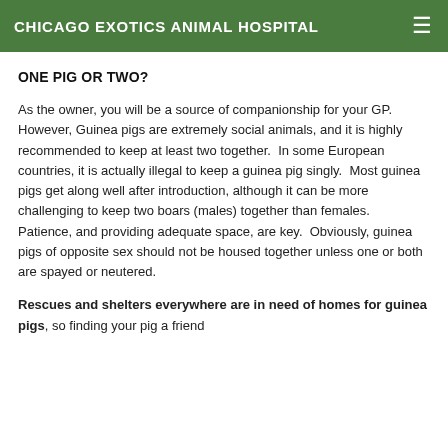CHICAGO EXOTICS ANIMAL HOSPITAL
ONE PIG OR TWO?
As the owner, you will be a source of companionship for your GP.  However, Guinea pigs are extremely social animals, and it is highly recommended to keep at least two together.  In some European countries, it is actually illegal to keep a guinea pig singly.  Most guinea pigs get along well after introduction, although it can be more challenging to keep two boars (males) together than females.  Patience, and providing adequate space, are key.  Obviously, guinea pigs of opposite sex should not be housed together unless one or both are spayed or neutered.
Rescues and shelters everywhere are in need of homes for guinea pigs, so finding your pig a friend